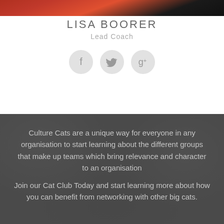[Figure (photo): Partial photo of Lisa Boorer with red hair against dark background, cropped at top]
LISA BOORER
Lead Coach
[Figure (infographic): Three circular social media icon buttons: Facebook (f), Twitter (bird), Google+ (g+)]
Culture Cats are a unique way for everyone in any organisation to start learning about the different groups that make up teams which bring relevance and character to an organisation
Join our Cat Club Today and start learning more about how you can benefit from networking with other big cats.